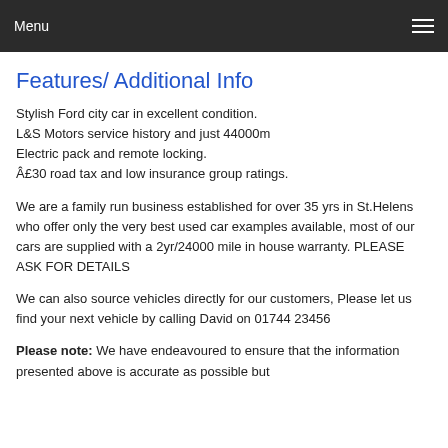Menu
Features/ Additional Info
Stylish Ford city car in excellent condition.
L&S Motors service history and just 44000m
Electric pack and remote locking.
Â£30 road tax and low insurance group ratings.
We are a family run business established for over 35 yrs in St.Helens who offer only the very best used car examples available, most of our cars are supplied with a 2yr/24000 mile in house warranty. PLEASE ASK FOR DETAILS
We can also source vehicles directly for our customers, Please let us find your next vehicle by calling David on 01744 23456
Please note: We have endeavoured to ensure that the information presented above is accurate as possible but